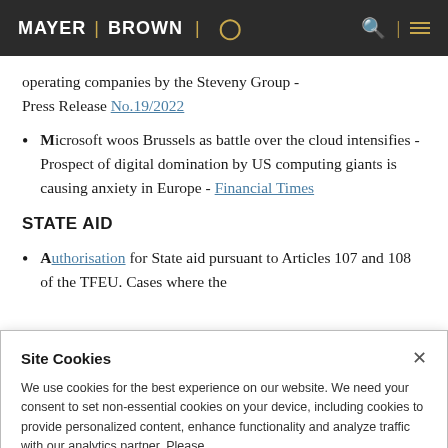MAYER | BROWN
operating companies by the Steveny Group - Press Release No.19/2022
Microsoft woos Brussels as battle over the cloud intensifies - Prospect of digital domination by US computing giants is causing anxiety in Europe - Financial Times
STATE AID
Authorisation for State aid pursuant to Articles 107 and 108 of the TFEU. Cases where the
Site Cookies
We use cookies for the best experience on our website. We need your consent to set non-essential cookies on your device, including cookies to provide personalized content, enhance functionality and analyze traffic with our analytics partner. Please